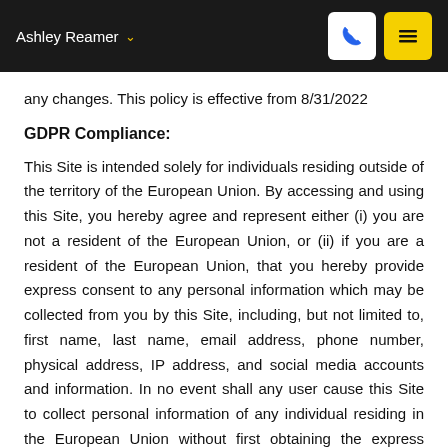Ashley Reamer
any changes. This policy is effective from 8/31/2022
GDPR Compliance:
This Site is intended solely for individuals residing outside of the territory of the European Union. By accessing and using this Site, you hereby agree and represent either (i) you are not a resident of the European Union, or (ii) if you are a resident of the European Union, that you hereby provide express consent to any personal information which may be collected from you by this Site, including, but not limited to, first name, last name, email address, phone number, physical address, IP address, and social media accounts and information. In no event shall any user cause this Site to collect personal information of any individual residing in the European Union without first obtaining the express consent of such individual.